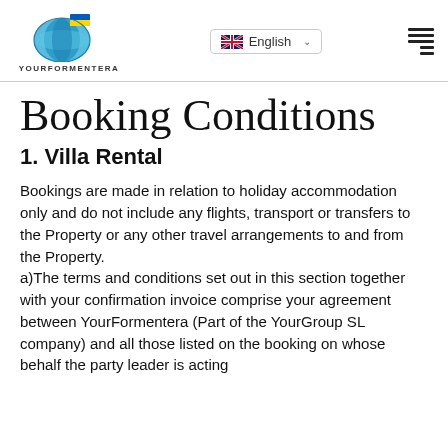YOURFORMENTERA | English
Booking Conditions
1. Villa Rental
Bookings are made in relation to holiday accommodation only and do not include any flights, transport or transfers to the Property or any other travel arrangements to and from the Property.
a)The terms and conditions set out in this section together with your confirmation invoice comprise your agreement between YourFormentera (Part of the YourGroup SL company) and all those listed on the booking on whose behalf the party leader is acting